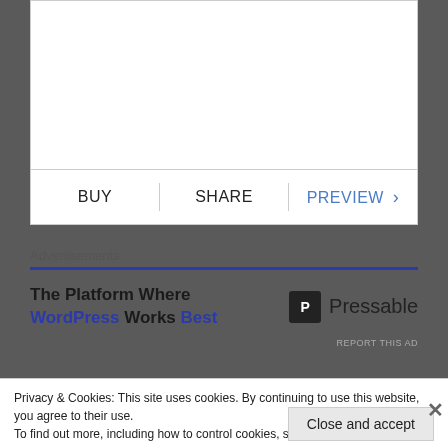BUY | SHARE | PREVIEW >
Advertisements
The Platform Where WordPress Works Best
P Pressable
REPORT THIS AD
Privacy & Cookies: This site uses cookies. By continuing to use this website, you agree to their use.
To find out more, including how to control cookies, see here: Cookie Policy
Close and accept